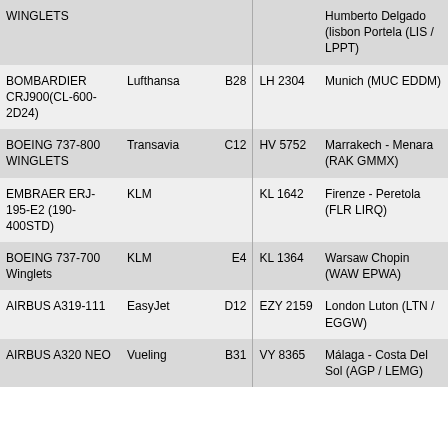| Aircraft | Airline | Gate | Flight | Destination |
| --- | --- | --- | --- | --- |
| WINGLETS |  |  |  | Humberto Delgado (lisbon Portela (LIS / LPPT) |
| BOMBARDIER CRJ900(CL-600-2D24) | Lufthansa | B28 | LH 2304 | Munich (MUC EDDM) |
| BOEING 737-800 WINGLETS | Transavia | C12 | HV 5752 | Marrakech - Menara (RAK GMMX) |
| EMBRAER ERJ-195-E2 (190-400STD) | KLM |  | KL 1642 | Firenze - Peretola (FLR LIRQ) |
| BOEING 737-700 Winglets | KLM | E4 | KL 1364 | Warsaw Chopin (WAW EPWA) |
| AIRBUS A319-111 | EasyJet | D12 | EZY 2159 | London Luton (LTN / EGGW) |
| AIRBUS A320 NEO | Vueling | B31 | VY 8365 | Málaga - Costa Del Sol (AGP / LEMG) |